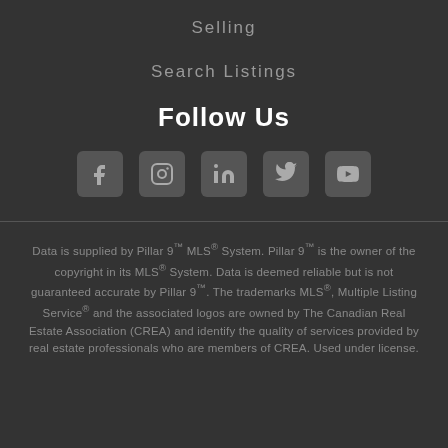Selling
Search Listings
Follow Us
[Figure (illustration): Social media icons: Facebook, Instagram, LinkedIn, Twitter, YouTube]
Data is supplied by Pillar 9™ MLS® System. Pillar 9™ is the owner of the copyright in its MLS® System. Data is deemed reliable but is not guaranteed accurate by Pillar 9™. The trademarks MLS®, Multiple Listing Service® and the associated logos are owned by The Canadian Real Estate Association (CREA) and identify the quality of services provided by real estate professionals who are members of CREA. Used under license.